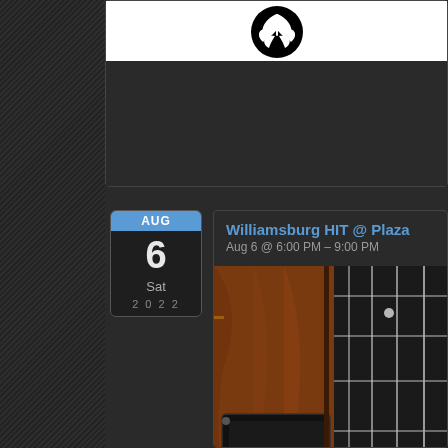[Figure (photo): Top card with black logo featuring a cannabis leaf on white background]
[Figure (other): Calendar badge showing AUG 6, Sat, 2022 with blue header]
Williamsburg HIT @ Plaza
Aug 6 @ 6:00 PM – 9:00 PM
[Figure (photo): Close-up photo of an electric guitar body showing wooden body, frets, strings, and pickup]